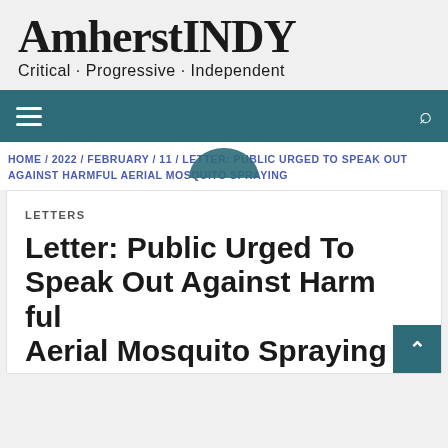AmherstINDY Critical · Progressive · Independent
Navigation bar with hamburger menu and search icon
HOME / 2022 / FEBRUARY / 11 / LETTER: PUBLIC URGED TO SPEAK OUT AGAINST HARMFUL AERIAL MOSQUITO SPRAYING
LETTERS
Letter: Public Urged To Speak Out Against Harmful Aerial Mosquito Spraying